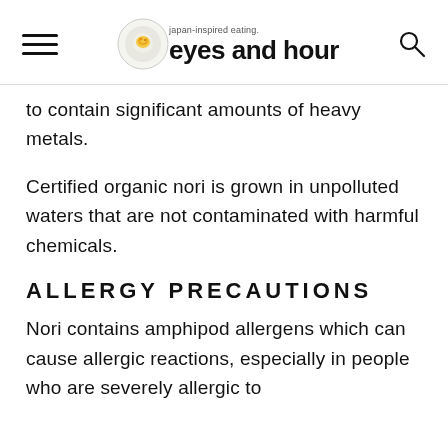japan-inspired eating. eyes and hour
to contain significant amounts of heavy metals.
Certified organic nori is grown in unpolluted waters that are not contaminated with harmful chemicals.
ALLERGY PRECAUTIONS
Nori contains amphipod allergens which can cause allergic reactions, especially in people who are severely allergic to